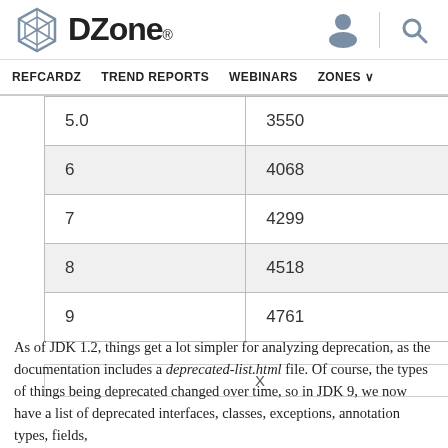DZone — REFCARDZ | TREND REPORTS | WEBINARS | ZONES
| 5.0 | 3550 |
| 6 | 4068 |
| 7 | 4299 |
| 8 | 4518 |
| 9 | 4761 |
As of JDK 1.2, things get a lot simpler for analyzing deprecation, as the documentation includes a deprecated-list.html file. Of course, the types of things being deprecated changed over time, so in JDK 9, we now have a list of deprecated interfaces, classes, exceptions, annotation types, fields,